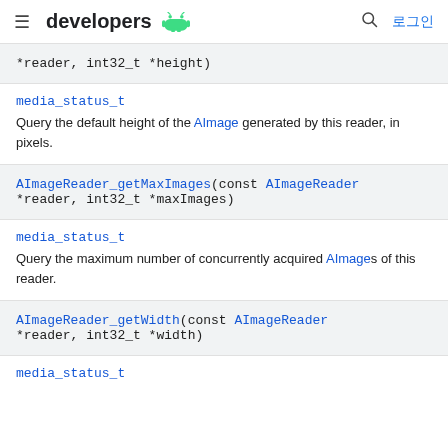developers
*reader, int32_t *height)
media_status_t
Query the default height of the AImage generated by this reader, in pixels.
AImageReader_getMaxImages(const AImageReader *reader, int32_t *maxImages)
media_status_t
Query the maximum number of concurrently acquired AImages of this reader.
AImageReader_getWidth(const AImageReader *reader, int32_t *width)
media_status_t